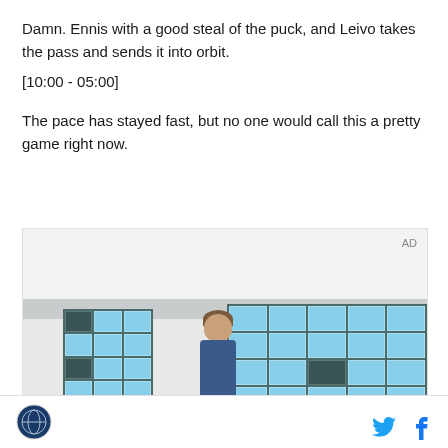Damn. Ennis with a good steal of the puck, and Leivo takes the pass and sends it into orbit.
[10:00 - 05:00]
The pace has stayed fast, but no one would call this a pretty game right now.
[Figure (photo): Advertisement image showing a young man standing in front of lockers in what appears to be a school or sports locker room. AD label in top right corner.]
Site logo and social media icons (Twitter, Facebook)